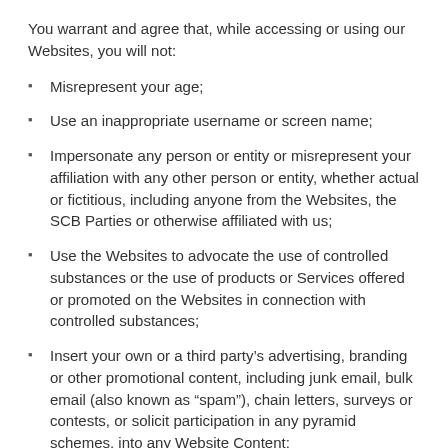You warrant and agree that, while accessing or using our Websites, you will not:
Misrepresent your age;
Use an inappropriate username or screen name;
Impersonate any person or entity or misrepresent your affiliation with any other person or entity, whether actual or fictitious, including anyone from the Websites, the SCB Parties or otherwise affiliated with us;
Use the Websites to advocate the use of controlled substances or the use of products or Services offered or promoted on the Websites in connection with controlled substances;
Insert your own or a third party’s advertising, branding or other promotional content, including junk email, bulk email (also known as “spam”), chain letters, surveys or contests, or solicit participation in any pyramid schemes, into any Website Content;